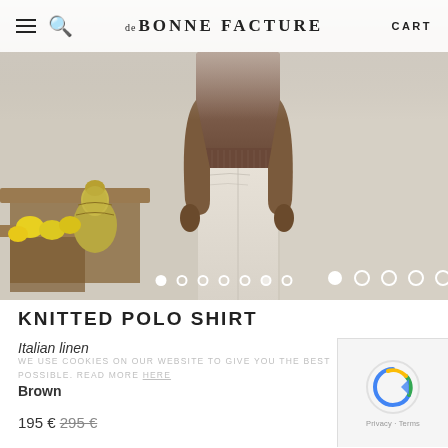DE BONNE FACTURE  CART
[Figure (photo): Fashion product photo: person wearing brown knitted polo shirt and white/cream trousers, standing next to a wooden table with a decorative ceramic vase and lemons. Slide carousel with 7 dots at bottom.]
KNITTED POLO SHIRT
Italian linen
WE USE COOKIES ON OUR WEBSITE TO GIVE YOU THE BEST POSSIBLE. READ MORE HERE
Brown
195 € 295 €